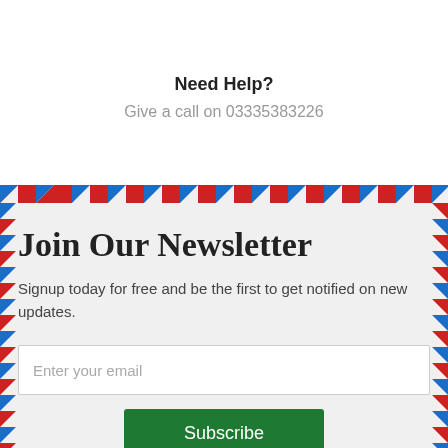Need Help?
Give a call on 03335383226
Join Our Newsletter
Signup today for free and be the first to get notified on new updates.
Enter your email
Subscribe